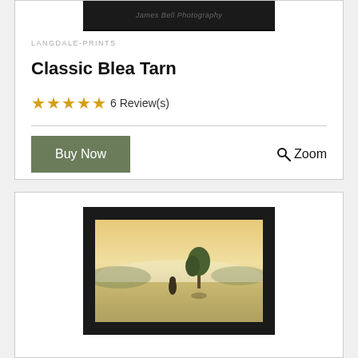[Figure (photo): Framed photograph product image at top of card, dark frame with text overlay 'James Bell Photography']
LANGDALE-PRINTS
Classic Blea Tarn
★★★★★ 6 Review(s)
Buy Now   🔍 Zoom
[Figure (photo): Framed landscape photograph showing misty scene with a tree and figure, warm golden tones]